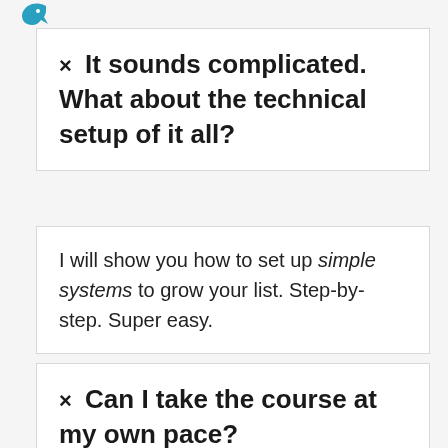[Figure (logo): Blue bird logo icon at top left]
× It sounds complicated. What about the technical setup of it all?
I will show you how to set up simple systems to grow your list. Step-by-step. Super easy.
× Can I take the course at my own pace?